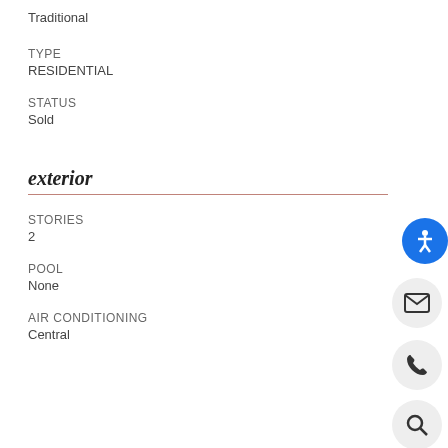Traditional
TYPE
RESIDENTIAL
STATUS
Sold
exterior
STORIES
2
POOL
None
AIR CONDITIONING
Central